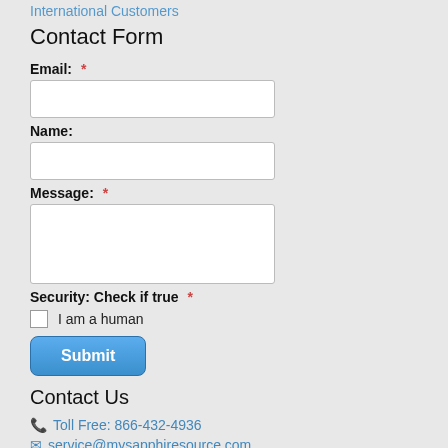International Customers
Contact Form
Email: *
[Figure (other): Email text input field]
Name:
[Figure (other): Name text input field]
Message: *
[Figure (other): Message textarea input field]
Security: Check if true *
I am a human
[Figure (other): Submit button]
Contact Us
Toll Free: 866-432-4936
service@mysapphiresource.com